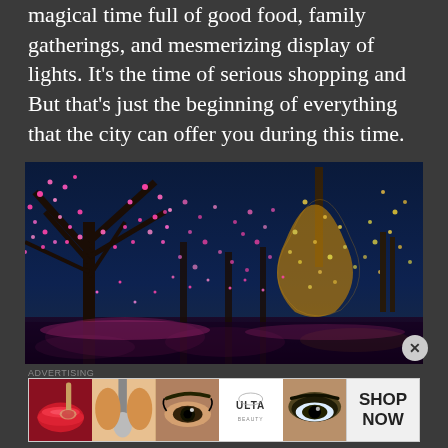magical time full of good food, family gatherings, and mesmerizing display of lights. It's the time of serious shopping and But that's just the beginning of everything that the city can offer you during this time.
[Figure (photo): Night photograph of trees wrapped in pink/magenta string lights against a dark blue sky, with golden-leafed trees in the background also lit with warm lights.]
[Figure (photo): ULTA Beauty advertisement banner showing close-up images of makeup looks (red lips, makeup brush, eye makeup, ULTA logo, smoky eye) with 'SHOP NOW' text.]